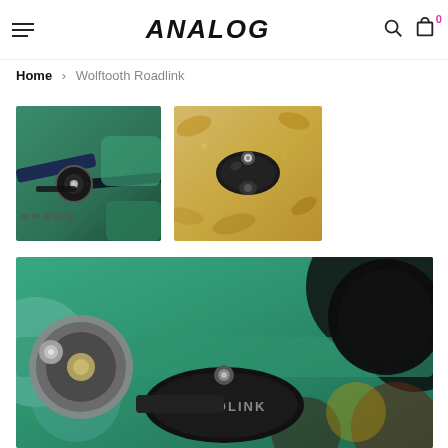ANALOG — navigation header with hamburger menu, logo, search and cart icons
Home > Wolftooth Roadlink
[Figure (photo): Close-up photo of a Wolftooth Roadlink component attached to a teal/green bicycle frame, showing dark derailleur pulley and chain details]
[Figure (photo): Close-up photo of a Wolftooth Roadlink component on a light background with autumn leaves, showing the small black oval adapter piece with silver bolt]
[Figure (photo): Large close-up photo of Wolftooth Roadlink component on a teal bicycle frame showing the ROADLINK label on the black component with bokeh background]